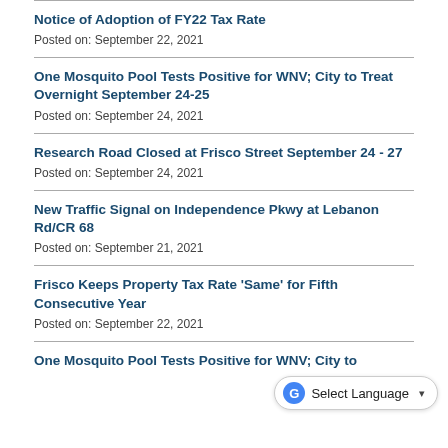Notice of Adoption of FY22 Tax Rate
Posted on: September 22, 2021
One Mosquito Pool Tests Positive for WNV; City to Treat Overnight September 24-25
Posted on: September 24, 2021
Research Road Closed at Frisco Street September 24 - 27
Posted on: September 24, 2021
New Traffic Signal on Independence Pkwy at Lebanon Rd/CR 68
Posted on: September 21, 2021
Frisco Keeps Property Tax Rate 'Same' for Fifth Consecutive Year
Posted on: September 22, 2021
One Mosquito Pool Tests Positive for WNV; City to